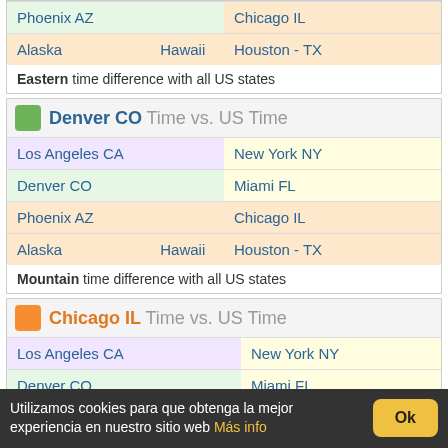| Phoenix AZ |  | Chicago IL |
| Alaska | Hawaii | Houston - TX |
Eastern time difference with all US states
Denver CO Time vs. US Time
| Los Angeles CA |  | New York NY |
| Denver CO |  | Miami FL |
| Phoenix AZ |  | Chicago IL |
| Alaska | Hawaii | Houston - TX |
Mountain time difference with all US states
Chicago IL Time vs. US Time
| Los Angeles CA |  | New York NY |
| Denver CO |  | Miami FL |
Utilizamos cookies para que obtenga la mejor experiencia en nuestro sitio web Más info